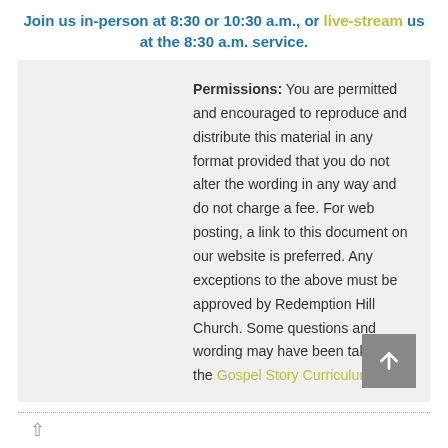Join us in-person at 8:30 or 10:30 a.m., or live-stream us at the 8:30 a.m. service.
Permissions: You are permitted and encouraged to reproduce and distribute this material in any format provided that you do not alter the wording in any way and do not charge a fee. For web posting, a link to this document on our website is preferred. Any exceptions to the above must be approved by Redemption Hill Church. Some questions and wording may have been taken from the Gospel Story Curriculum.